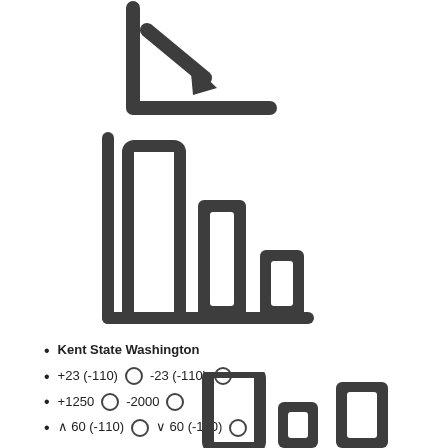[Figure (illustration): Partial line/trend chart icon at top, showing an L-shaped axis with a downward trend arrow]
[Figure (bar-chart): Descending bar chart icon with 3 bars (tall, medium, short) on a baseline axis]
Kent State Washington
+23 (-110)  ○  -23 (-110)  ○
+1250  ○  -2000  ○
^ 60 (-110)  ○  ∨ 60 (-110)  ○
[Figure (bar-chart): Partial bottom bar chart showing bars of varying heights, cropped at the bottom of the page]